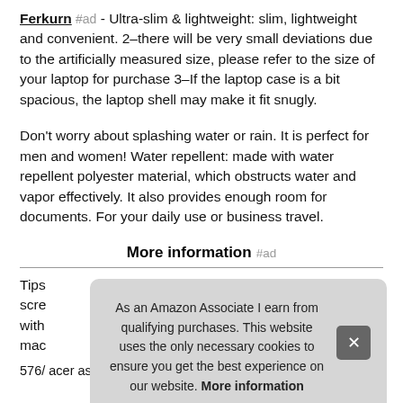Ferkurn #ad - Ultra-slim & lightweight: slim, lightweight and convenient. 2–there will be very small deviations due to the artificially measured size, please refer to the size of your laptop for purchase 3–If the laptop case is a bit spacious, the laptop shell may make it fit snugly.
Don't worry about splashing water or rain. It is perfect for men and women! Water repellent: made with water repellent polyester material, which obstructs water and vapor effectively. It also provides enough room for documents. For your daily use or business travel.
More information #ad
Tips scre with mac 576/ acer aspire 3 5 6 7/ acer chormebook 15/ acer nitro 5 7/
As an Amazon Associate I earn from qualifying purchases. This website uses the only necessary cookies to ensure you get the best experience on our website. More information